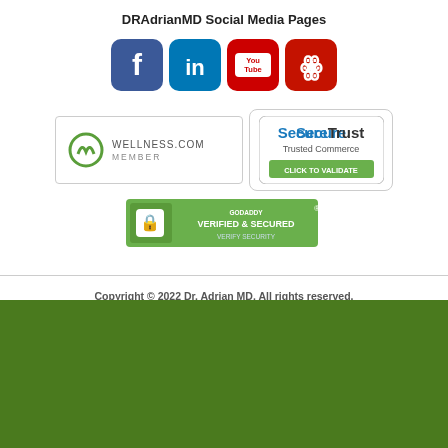DRAdrianMD Social Media Pages
[Figure (logo): Social media icons: Facebook, LinkedIn, YouTube, Yelp]
[Figure (logo): Wellness.com Member badge and SecureTrust Trusted Commerce badge]
[Figure (logo): GoDaddy Verified & Secured badge]
Copyright © 2022 Dr. Adrian MD. All rights reserved.
Powered by nopCommerce